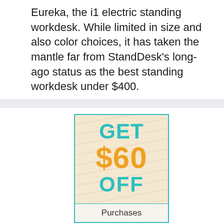Eureka, the i1 electric standing workdesk. While limited in size and also color choices, it has taken the mantle far from StandDesk's long-ago status as the best standing workdesk under $400.
[Figure (infographic): Coupon image with wood-grain background and teal border. Text reads: GET $60 OFF Purchases]